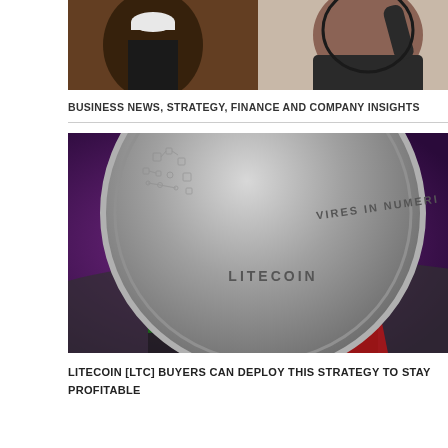[Figure (photo): Two men at a political rally or event — one on the left wearing a white cap and yellow scarf, one on the right in a dark hoodie raising his arm with a microphone]
BUSINESS NEWS, STRATEGY, FINANCE AND COMPANY INSIGHTS
[Figure (photo): Close-up of a Litecoin physical coin with engraving reading LITECOIN and VIRES IN NUMERIS, resting on a colorful CD/DVD with rainbow light reflections on a purple background]
LITECOIN [LTC] BUYERS CAN DEPLOY THIS STRATEGY TO STAY PROFITABLE